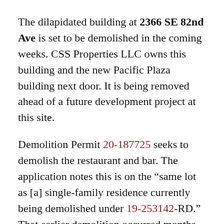The dilapidated building at 2366 SE 82nd Ave is set to be demolished in the coming weeks. CSS Properties LLC owns this building and the new Pacific Plaza building next door. It is being removed ahead of a future development project at this site.
Demolition Permit 20-187725 seeks to demolish the restaurant and bar. The application notes this is on the “same lot as [a] single-family residence currently being demolished under 19-253142-RD.” That earlier demolition occurred months before making room for Pacific Plaza trash enclosure.
This building once was home to the Stein